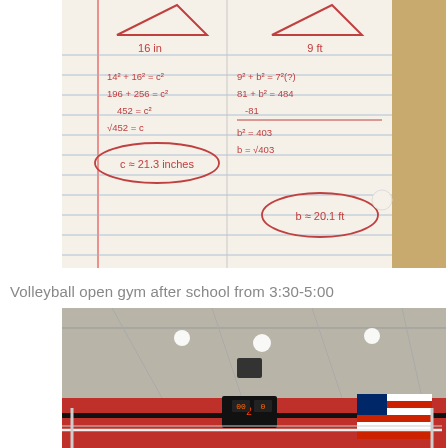[Figure (photo): Handwritten math notebook page showing Pythagorean theorem problems. Left side: triangle with base 16 in, equations: 14² + 16² = c², 196 + 256 = c², 452 = c², √452 = c, answer circled: c ≈ 21.3 inches. Right side: triangle with base 9 ft, equations: 9² + b² = 7³(?), 81 + b² = 484, -81, b² = 403, b = √403, answer circled: b ≈ 20.1 ft.]
Volleyball open gym after school from 3:30-5:00
[Figure (photo): Interior of a school gymnasium showing ceiling with lights, a volleyball net, scoreboard showing 2-0, and an American flag on the wall. Red and white colors throughout.]